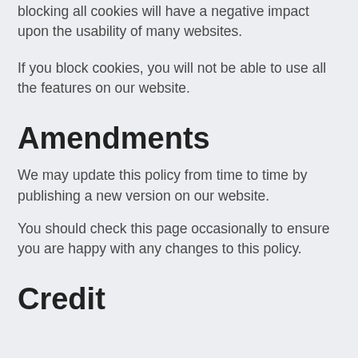blocking all cookies will have a negative impact upon the usability of many websites.
If you block cookies, you will not be able to use all the features on our website.
Amendments
We may update this policy from time to time by publishing a new version on our website.
You should check this page occasionally to ensure you are happy with any changes to this policy.
Credit